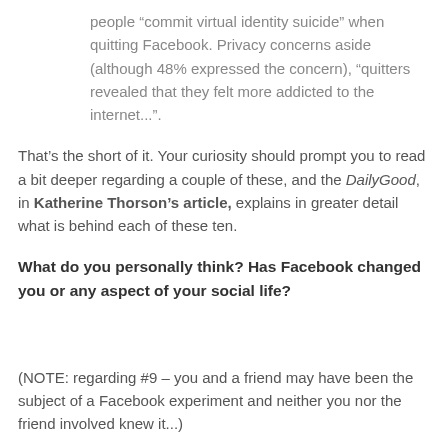people “commit virtual identity suicide” when quitting Facebook. Privacy concerns aside (although 48% expressed the concern), “quitters revealed that they felt more addicted to the internet...”.
That’s the short of it. Your curiosity should prompt you to read a bit deeper regarding a couple of these, and the DailyGood, in Katherine Thorson’s article, explains in greater detail what is behind each of these ten.
What do you personally think? Has Facebook changed you or any aspect of your social life?
(NOTE: regarding #9 – you and a friend may have been the subject of a Facebook experiment and neither you nor the friend involved knew it...)